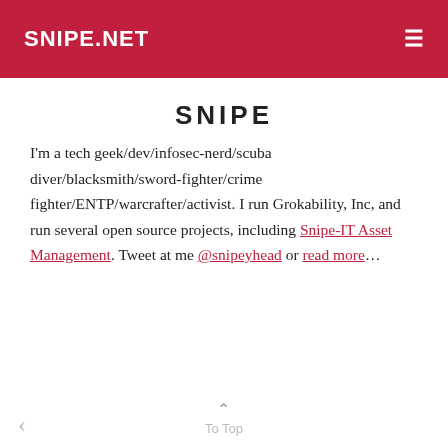SNIPE.NET
SNIPE
I'm a tech geek/dev/infosec-nerd/scuba diver/blacksmith/sword-fighter/crime fighter/ENTP/warcrafter/activist. I run Grokability, Inc, and run several open source projects, including Snipe-IT Asset Management. Tweet at me @snipeyhead or read more…
To Top